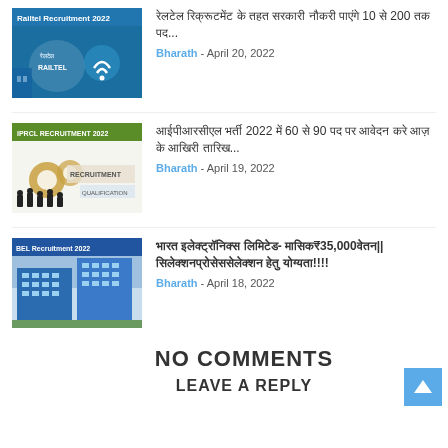[Figure (screenshot): Railtel Recruitment 2022 thumbnail with RAILTEL logo and WiFi symbol on blue background]
रेलटेल रिक्रूटमेंट के तहत सरकारी नौकरी पाएंगे 10 से 200 तक पद...
Bharath - April 20, 2022
[Figure (screenshot): IPRCL RECRUITMENT 2022 thumbnail showing recruitment imagery with gears and people]
आईपीआरसीएल भर्ती 2022 में 60 से 90 पद पर आवेदन करे आज़ के आखिरी तारिख...
Bharath - April 19, 2022
[Figure (screenshot): BEL Recruitment 2022 thumbnail showing BEL building/office]
भारत इलेक्ट्रॉनिक्स लिमिटेड- मासिक₹35,000वेतन|| सिलेक्शनप्रोसेससेलेक्शन हेतु योग्यता!!!!
Bharath - April 18, 2022
NO COMMENTS
LEAVE A REPLY